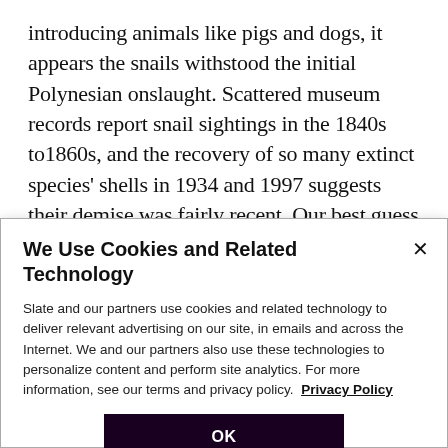introducing animals like pigs and dogs, it appears the snails withstood the initial Polynesian onslaught. Scattered museum records report snail sightings in the 1840s to1860s, and the recovery of so many extinct species' shells in 1934 and 1997 suggests their demise was fairly recent. Our best guess is the snails took a beating when the Polynesians started destroying their habitat, and the Europeans finished the job with the addition of their technology, agricultural practices, and
We Use Cookies and Related Technology
Slate and our partners use cookies and related technology to deliver relevant advertising on our site, in emails and across the Internet. We and our partners also use these technologies to personalize content and perform site analytics. For more information, see our terms and privacy policy. Privacy Policy
OK